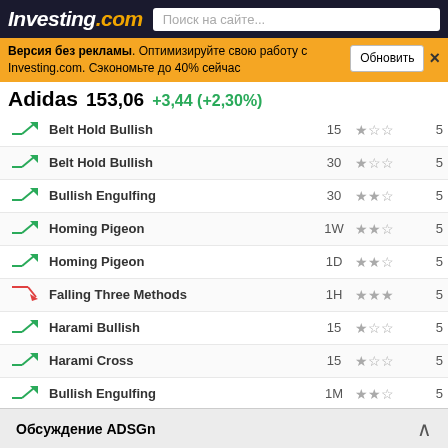Investing.com — Поиск на сайте...
Версия без рекламы. Оптимизируйте свою работу с Investing.com. Сэкономьте до 40% сейчас. Обновить
Adidas 153,06 +3,44 (+2,30%)
|  | Pattern | Period | Stars |  |
| --- | --- | --- | --- | --- |
| ↗ | Belt Hold Bullish | 15 | ★☆☆ | 5 |
| ↗ | Belt Hold Bullish | 30 | ★☆☆ | 5 |
| ↗ | Bullish Engulfing | 30 | ★★☆ | 5 |
| ↗ | Homing Pigeon | 1W | ★★☆ | 5 |
| ↗ | Homing Pigeon | 1D | ★★☆ | 5 |
| ↘ | Falling Three Methods | 1H | ★★★ | 5 |
| ↗ | Harami Bullish | 15 | ★☆☆ | 5 |
| ↗ | Harami Cross | 15 | ★☆☆ | 5 |
| ↗ | Bullish Engulfing | 1M | ★★☆ | 5 |
| ↗ | Harami Bullish | 1H | ★☆☆ | 5 |
| ↗ | Harami Cross | 1H | ★☆☆ | 5 |
| ↘ | Falling Three Methods | 30 | ★★★ | 5 |
| ↗ | Harami Bullish | 15 | ★☆☆ | 5 |
| ↗ | Harami C | ... | ★☆☆ | 5 |
Обсуждение ADSGn